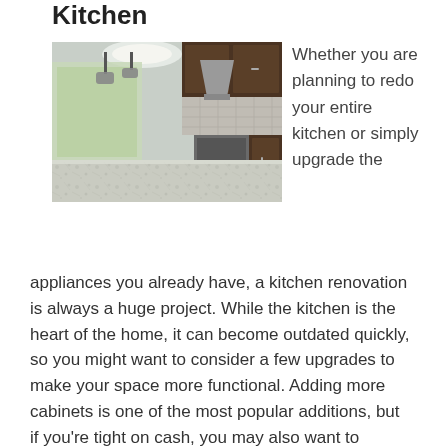Kitchen
[Figure (photo): Modern kitchen interior with granite countertop, dark wood cabinets, stainless steel appliances, pendant lights, and view toward living area]
Whether you are planning to redo your entire kitchen or simply upgrade the
appliances you already have, a kitchen renovation is always a huge project. While the kitchen is the heart of the home, it can become outdated quickly, so you might want to consider a few upgrades to make your space more functional. Adding more cabinets is one of the most popular additions, but if you're tight on cash, you may also want to consider knocking down